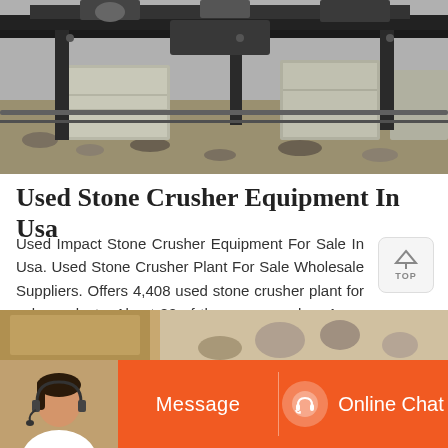[Figure (photo): Industrial stone crusher equipment with heavy machinery, black metal frame structure on concrete blocks, outdoor industrial setting with gravel ground]
Used Stone Crusher Equipment In Usa
Used Impact Stone Crusher Equipment For Sale In Usa. Used Stone Crusher Plant For Sale Wholesale Suppliers. Offers 4,408 used stone crusher plant for sale products. About 82 of these are crusher, 1 are other machinery industry equipment. A wide variety of used stone crusher plant for sale options are available to you, such as jaw crusher, cone ...
[Figure (photo): Bottom section showing a customer service representative (woman with headset) on left, orange Message button in center-left, Online Chat button with headset icon on center-right, background shows stone/gravel material]